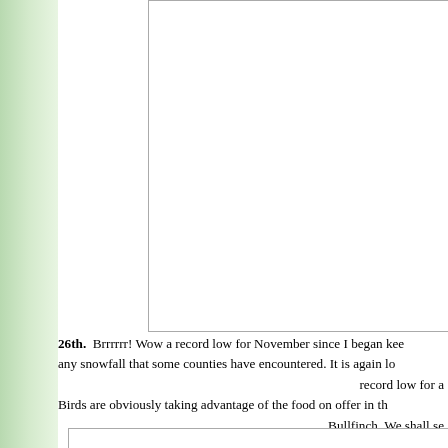[Figure (photo): White/blank image box with border, upper right portion of page]
26th. Brrrrrr! Wow a record low for November since I began kee any snowfall that some counties have encountered. It is again lo record low for a Birds are obviously taking advantage of the food on offer in th Bullfinch. We shall se 14th. As promised a few image
[Figure (photo): Partial image box at bottom of page]